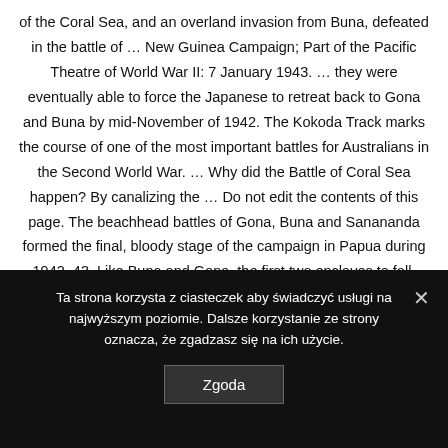of the Coral Sea, and an overland invasion from Buna, defeated in the battle of … New Guinea Campaign; Part of the Pacific Theatre of World War II: 7 January 1943. … they were eventually able to force the Japanese to retreat back to Gona and Buna by mid-November of 1942. The Kokoda Track marks the course of one of the most important battles for Australians in the Second World War. … Why did the Battle of Coral Sea happen? By canalizing the … Do not edit the contents of this page. The beachhead battles of Gona, Buna and Sanananda formed the final, bloody stage of the campaign in Papua during 1942–43. Like Buna and Gona, the first two enclaves to fall, Sanananda was the scene of fierce and costly fighting. < Talk:Battle of Buna–Gona. The 16th Australian Brigade made the first attempt
Ta strona korzysta z ciasteczek aby świadczyć usługi na najwyższym poziomie. Dalsze korzystanie ze strony oznacza, że zgadzasz się na ich użycie.